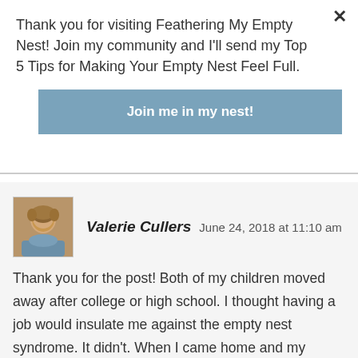Thank you for visiting Feathering My Empty Nest! Join my community and I'll send my Top 5 Tips for Making Your Empty Nest Feel Full.
Join me in my nest!
×
Valerie Cullers   June 24, 2018 at 11:10 am
Thank you for the post! Both of my children moved away after college or high school. I thought having a job would insulate me against the empty nest syndrome. It didn't. When I came home and my children were gone, I was lonely. I got more involved with ministry and that filled some of the time. My elderly parents needed help and that filled another slot. But nothing takes the place of children (even adult